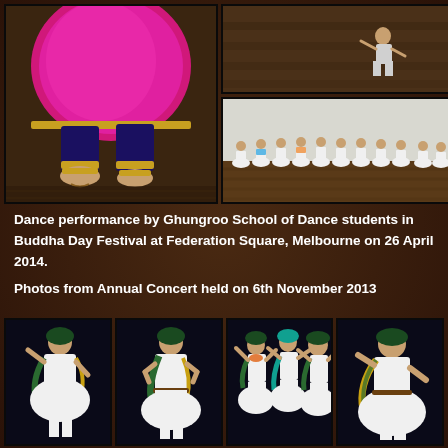[Figure (photo): Top photo collage: left photo shows close-up of dancer's feet and costume with pink/magenta silk skirt with gold trim and ankle bells. Top-right photo shows single dancer on wooden stage floor. Bottom-right photo shows group of young dancers in white dresses performing on stage.]
Dance performance by Ghungroo School of Dance students in Buddha Day Festival at Federation Square, Melbourne on 26 April 2014.

Photos from Annual Concert held on 6th November 2013
[Figure (photo): Bottom photo collage: four photos of female dancers in white costumes with green/gold scarves performing kathak or similar Indian classical dance at Annual Concert.]